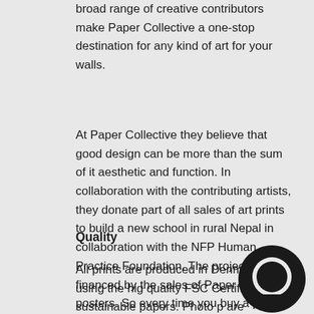broad range of creative contributors make Paper Collective a one-stop destination for any kind of art for your walls.
At Paper Collective they believe that good design can be more than the sum of it aesthetic and function. In collaboration with the contributing artists, they donate part of all sales of art prints to build a new school in rural Nepal in collaboration with the NFP Human Practice Foundation. The project is fully financed by the sales of Paper Collective posters. So every time you buy a poster, you play a part in this project.
Quality
All prints are produced in Denmark using the high quality FSC Certified sustainable papers. Photo prints are printed on 250g matt coated, acid-free paper and